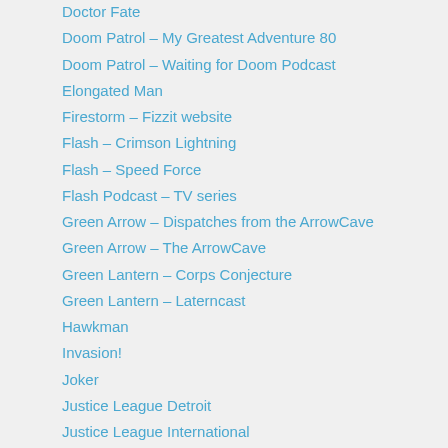Doctor Fate
Doom Patrol – My Greatest Adventure 80
Doom Patrol – Waiting for Doom Podcast
Elongated Man
Firestorm – Fizzit website
Flash – Crimson Lightning
Flash – Speed Force
Flash Podcast – TV series
Green Arrow – Dispatches from the ArrowCave
Green Arrow – The ArrowCave
Green Lantern – Corps Conjecture
Green Lantern – Laterncast
Hawkman
Invasion!
Joker
Justice League Detroit
Justice League International
Justice League of America
Legion of Super-Heroes
Martian Manhunter
Marvel Super Heroes Podcast
oHOTmu or Not Podcast
Phantom Stranger